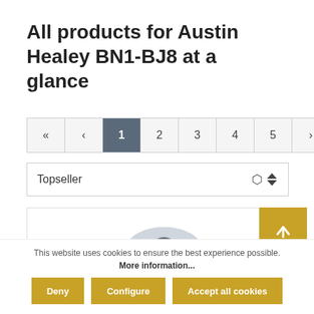All products for Austin Healey BN1-BJ8 at a glance
« < 1 2 3 4 5 > »
Topseller
[Figure (photo): Close-up photo of a metal automotive part (washer/bolt component) in silver/gray color]
This website uses cookies to ensure the best experience possible. More information...
Deny
Configure
Accept all cookies